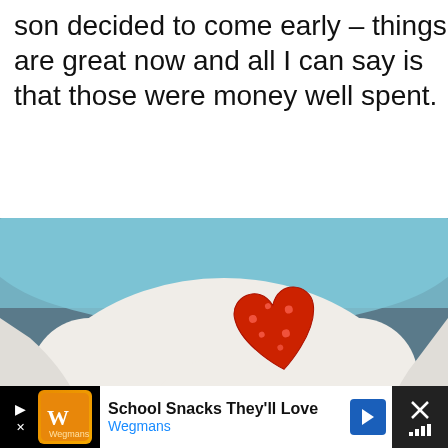son decided to come early – things are great now and all I can say is that those were money well spent.
[Figure (photo): Newborn baby swaddled in white blanket with a red heart-patterned decoration on top of the blanket, lying in a hospital bassinet with teal/blue patterned liner. Like/share buttons visible on right side.]
School Snacks They'll Love Wegmans